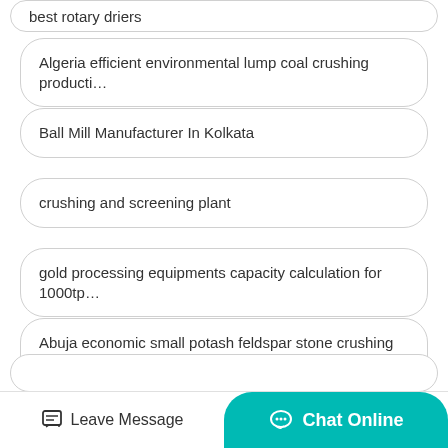best rotary driers
Algeria efficient environmental lump coal crushing producti…
Ball Mill Manufacturer In Kolkata
crushing and screening plant
gold processing equipments capacity calculation for 1000tp…
Abuja economic small potash feldspar stone crushing machi…
how to product conveyor belt
(partial, cut off at bottom)
Leave Message   Chat Online